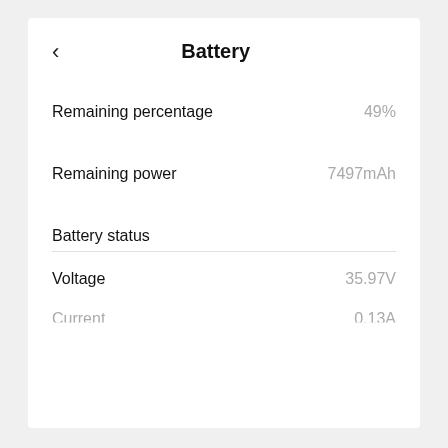Battery
Remaining percentage   49%
Remaining power   7497mAh
Battery status
Voltage   35.97V
Current   0.13A